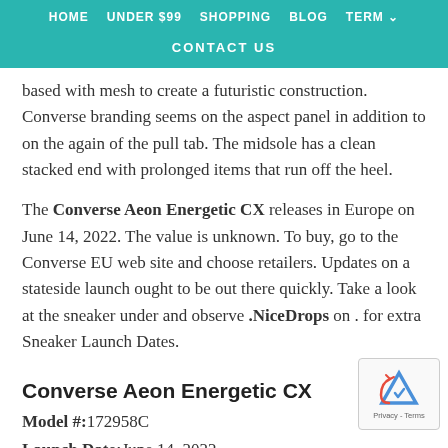HOME   UNDER $99   SHOPPING   BLOG   TERM   CONTACT US
based with mesh to create a futuristic construction. Converse branding seems on the aspect panel in addition to on the again of the pull tab. The midsole has a clean stacked end with prolonged items that run off the heel.
The Converse Aeon Energetic CX releases in Europe on June 14, 2022. The value is unknown. To buy, go to the Converse EU web site and choose retailers. Updates on a stateside launch ought to be out there quickly. Take a look at the sneaker under and observe .NiceDrops on . for extra Sneaker Launch Dates.
Converse Aeon Energetic CX
Model #:172958C
Launch Date:June 14, 2022